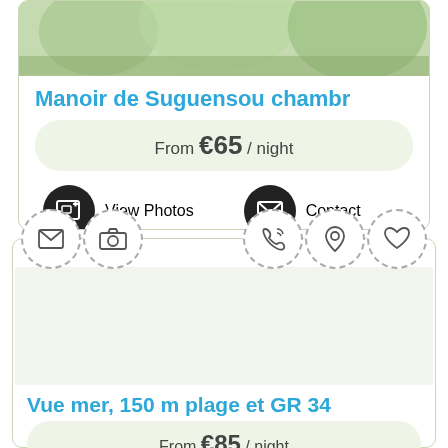[Figure (photo): Partial photo of Manoir de Suguensou, showing trees and greenery]
Manoir de Suguensou chambr
From €65 / night
View Photos
Contact
[Figure (infographic): Second listing card with dashed-circle icons (envelope, camera, phone, location pin, heart) and blank image placeholder]
Vue mer, 150 m plage et GR 34
From €85 / night